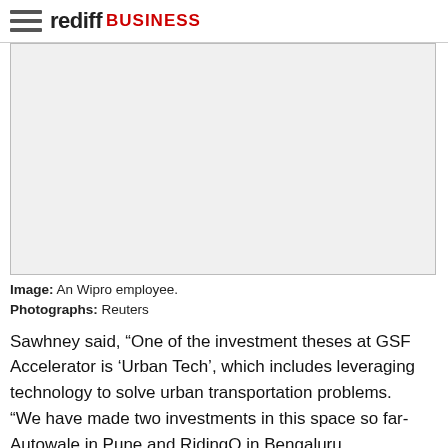rediff BUSINESS
[Figure (photo): Large image placeholder showing a Wipro employee (blank/white area with border)]
Image: An Wipro employee.
Photographs: Reuters
Sawhney said, “One of the investment theses at GSF Accelerator is ‘Urban Tech’, which includes leveraging technology to solve urban transportation problems. “We have made two investments in this space so far- Autowale in Pune and RidingO in Bengaluru. “RidingO is creating a new mobile-supported car share